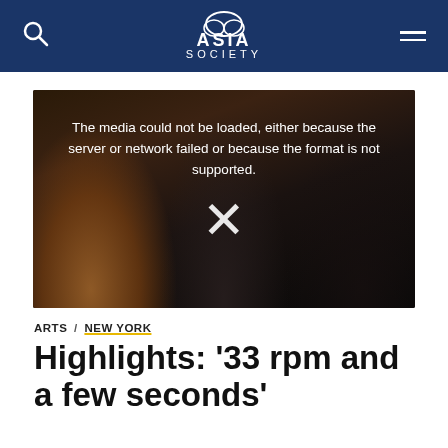ASIA SOCIETY
[Figure (photo): Video placeholder showing three people seated on a dark stage, with a media error overlay message and an X icon. Text reads: 'The media could not be loaded, either because the server or network failed or because the format is not supported.']
ARTS / NEW YORK
Highlights: '33 rpm and a few seconds'